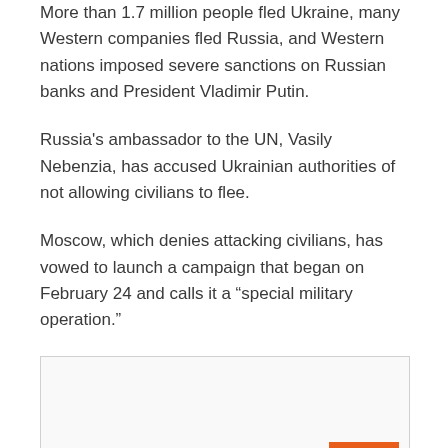More than 1.7 million people fled Ukraine, many Western companies fled Russia, and Western nations imposed severe sanctions on Russian banks and President Vladimir Putin.
Russia's ambassador to the UN, Vasily Nebenzia, has accused Ukrainian authorities of not allowing civilians to flee.
Moscow, which denies attacking civilians, has vowed to launch a campaign that began on February 24 and calls it a “special military operation.”
[Figure (other): Image placeholder box with an orange scroll-to-top button in the bottom right corner]